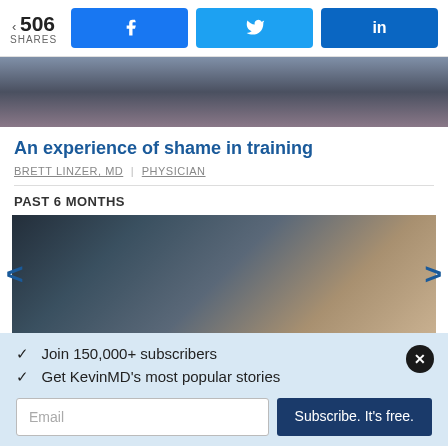506 SHARES | Facebook | Twitter | LinkedIn
[Figure (photo): Close-up of a stethoscope on a dark background, partial view at top of page]
An experience of shame in training
BRETT LINZER, MD | PHYSICIAN
PAST 6 MONTHS
[Figure (photo): Close-up of a stethoscope and pen on a desk, blurred background]
✓  Join 150,000+ subscribers
✓  Get KevinMD's most popular stories
Email | Subscribe. It's free.